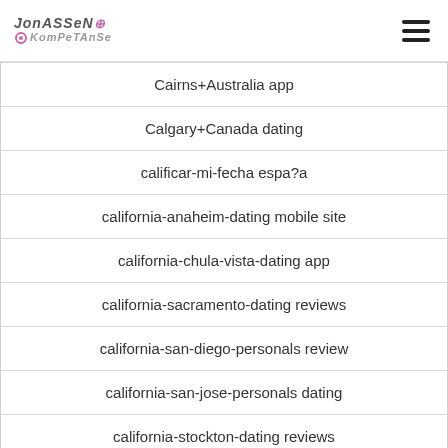Jonassen Kompetanse logo and hamburger menu
Cairns+Australia app
Calgary+Canada dating
calificar-mi-fecha espa?a
california-anaheim-dating mobile site
california-chula-vista-dating app
california-sacramento-dating reviews
california-san-diego-personals review
california-san-jose-personals dating
california-stockton-dating reviews